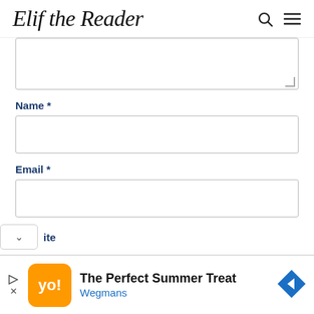Elif the Reader
Name *
Email *
ite
[Figure (other): Advertisement: The Perfect Summer Treat - Wegmans, with orange app icon and blue diamond arrow icon]